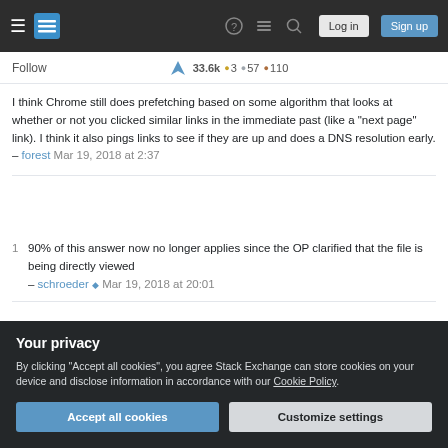Stack Exchange navigation header with Log in and Sign up buttons
Follow  33.6K  3  57  110
I think Chrome still does prefetching based on some algorithm that looks at whether or not you clicked similar links in the immediate past (like a "next page" link). I think it also pings links to see if they are up and does a DNS resolution early. – forest Mar 19, 2018 at 2:37
1  90% of this answer now no longer applies since the OP clarified that the file is being directly viewed – schroeder ♦ Mar 19, 2018 at 20:01
@schroeder is correct. To be more specific, the only
Your privacy
By clicking "Accept all cookies", you agree Stack Exchange can store cookies on your device and disclose information in accordance with our Cookie Policy.
Accept all cookies
Customize settings